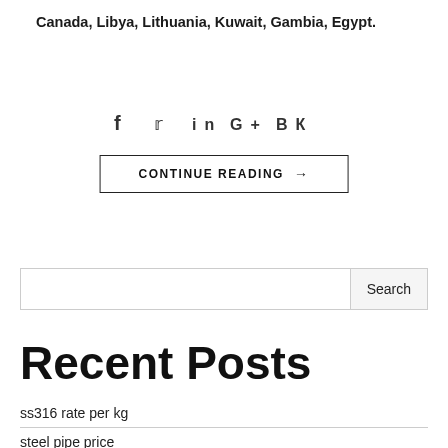Canada, Libya, Lithuania, Kuwait, Gambia, Egypt.
[Figure (other): Social media icons: f (Facebook), bird (Twitter), in (LinkedIn), G+ (Google Plus), VK]
CONTINUE READING →
Search input field with Search button
Recent Posts
ss316 rate per kg
steel pipe price